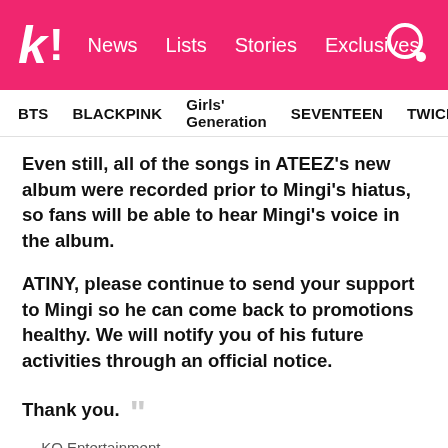Koreaboo | News | Lists | Stories | Exclusives
BTS | BLACKPINK | Girls' Generation | SEVENTEEN | TWICE
Even still, all of the songs in ATEEZ's new album were recorded prior to Mingi's hiatus, so fans will be able to hear Mingi's voice in the album.
ATINY, please continue to send your support to Mingi so he can come back to promotions healthy. We will notify you of his future activities through an official notice.
Thank you.
— KQ Entertainment